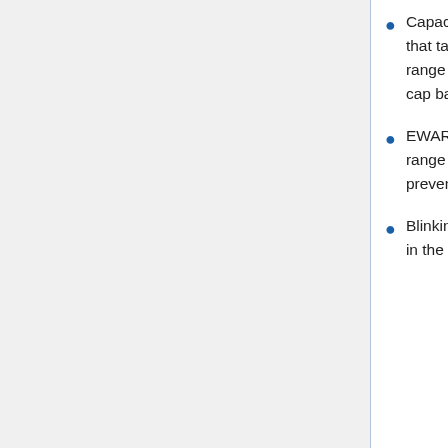Capacitor Warfare. Ships with energy neutralizers can drain the tacklers capacitor so that tackle modules switch off. This can be countered by either staying out of the neut range or by fitting an energy vampire to steal some cap back or a cap booster to inject cap back immediately after an energy neut cycle.
EWAR Damps and ECM. Remote Sensor dampeners can reduce the tacklers locking range enough so that it loses lock on the target. ECM can break the tacklers lock and prevent the tackler from relocking the target.
Blinking away. MJD and MJFD both allow a warp disrupted target to move 100km away in the direction it is aligned. The Target can then warp